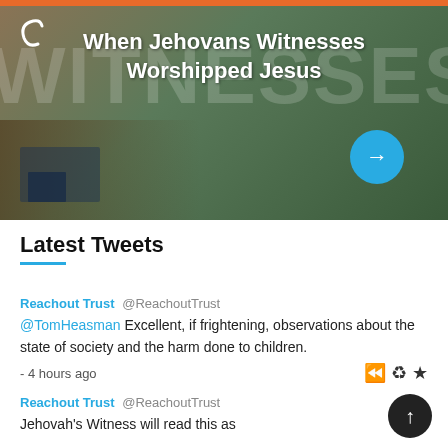[Figure (screenshot): Banner image with dark green/brown artistic background, watermark text WITNESSES, and article title 'When Jehovans Witnesses Worshipped Jesus' with a blue arrow button]
Latest Tweets
Reachout Trust @ReachoutTrust
@TomHeasman Excellent, if frightening, observations about the state of society and the harm done to children.
- 4 hours ago
Reachout Trust @ReachoutTrust
Jehovah's Witness will read this as